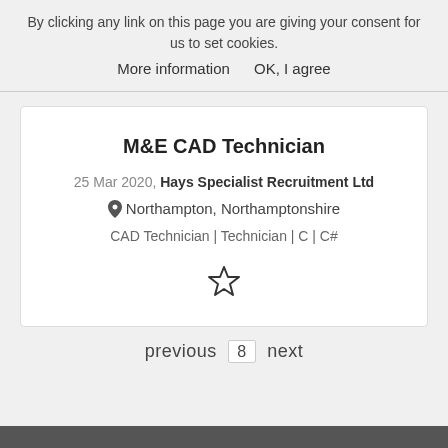By clicking any link on this page you are giving your consent for us to set cookies.
More information    OK, I agree
M&E CAD Technician
25 Mar 2020, Hays Specialist Recruitment Ltd
Northampton, Northamptonshire
CAD Technician | Technician | C | C#
previous  8  next